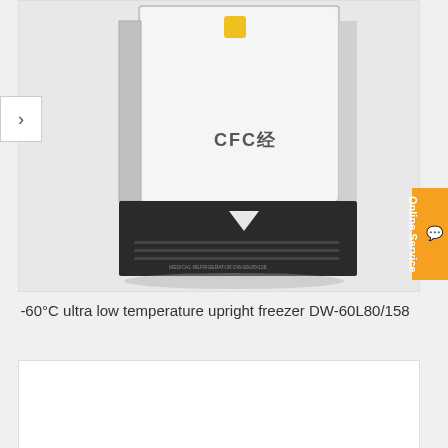[Figure (photo): Photo of a -60°C ultra low temperature upright freezer DW-60L80/158. The freezer is an upright unit with a white upper body and dark lower section. A brand logo appears on the front door.]
-60°C ultra low temperature upright freezer DW-60L80/158
[Figure (photo): Bottom portion of a second product image, mostly white/empty area below the main freezer photo.]